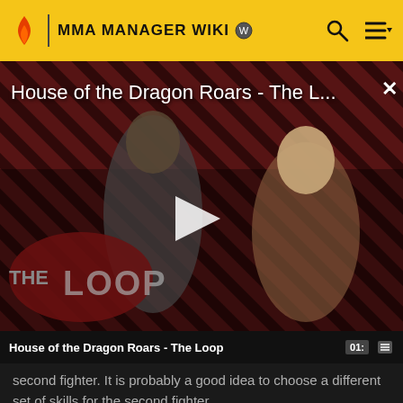MMA MANAGER WiKi
[Figure (screenshot): Video player showing 'House of the Dragon Roars - The L...' with a play button in the center. Two characters from House of the Dragon visible. Diagonal striped dark red/black pattern background. 'THE LOOP' branding visible at bottom left. Close (X) button at top right.]
House of the Dragon Roars - The Loop
second fighter. It is probably a good idea to choose a different set of skills for the second fighter.
The next quest will be to win a campaign fight. Select